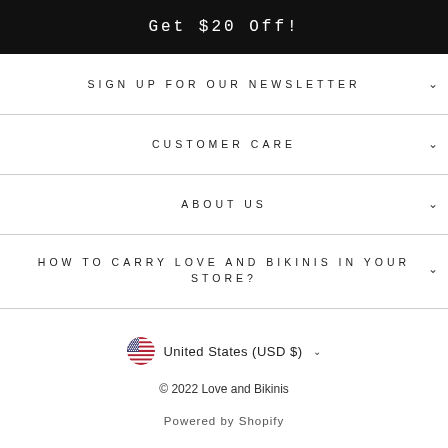Get $20 Off!
SIGN UP FOR OUR NEWSLETTER
CUSTOMER CARE
ABOUT US
HOW TO CARRY LOVE AND BIKINIS IN YOUR STORE?
United States (USD $)
© 2022 Love and Bikinis
Powered by Shopify